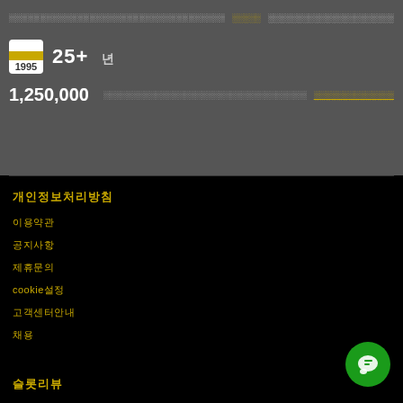25+ 년
1,250,000
개인정보처리방침
이용약관
공지사항
제휴문의
cookie설정
고객센터안내
채용
슬롯리뷰
슬롯/머신
바카라
라이브딜러
포커